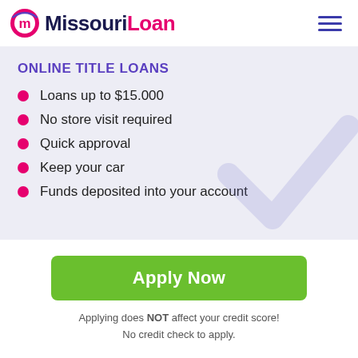[Figure (logo): MissouriLoan logo with circular M icon in pink/red and blue, text 'MissouriLoan' in dark navy and pink]
ONLINE TITLE LOANS
Loans up to $15.000
No store visit required
Quick approval
Keep your car
Funds deposited into your account
Apply Now
Applying does NOT affect your credit score! No credit check to apply.